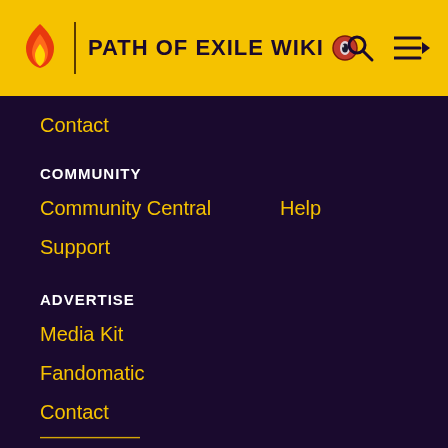PATH OF EXILE WIKI
Contact
COMMUNITY
Community Central
Help
Support
ADVERTISE
Media Kit
Fandomatic
Contact